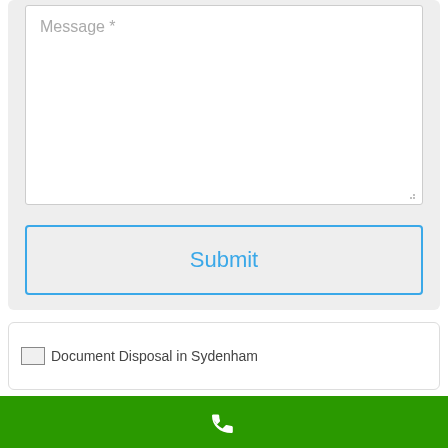[Figure (screenshot): Web contact form partial view showing a Message textarea field with placeholder text 'Message *', a Submit button with blue outline and blue text, a broken image labeled 'Document Disposal in Sydenham', and a green phone call bar at the bottom with a white phone icon.]